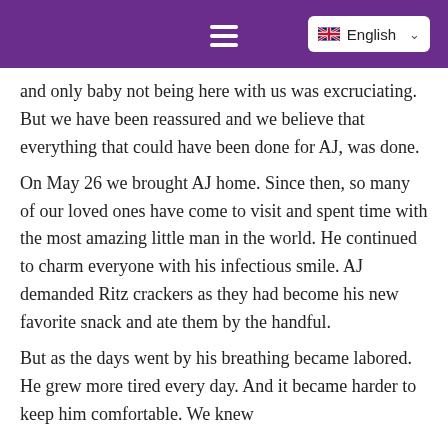English
and only baby not being here with us was excruciating. But we have been reassured and we believe that everything that could have been done for AJ, was done.
On May 26 we brought AJ home. Since then, so many of our loved ones have come to visit and spent time with the most amazing little man in the world. He continued to charm everyone with his infectious smile. AJ demanded Ritz crackers as they had become his new favorite snack and ate them by the handful.
But as the days went by his breathing became labored. He grew more tired every day. And it became harder to keep him comfortable. We knew